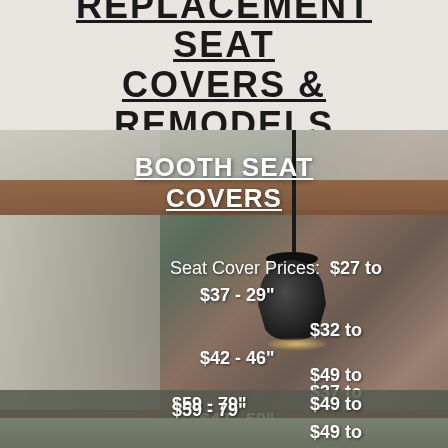REPLACEMENT SEAT COVERS & REMODELS
[Figure (photo): Photo of a booth seating corner with pendant lamp, overlaid with white text showing booth seat cover prices]
BOOTH SEAT COVERS
Seat Cover Prices: $27 to $37 - 29" $32 to $42 - 46" $37 to $47 - 59" $49 to $59 - 79"